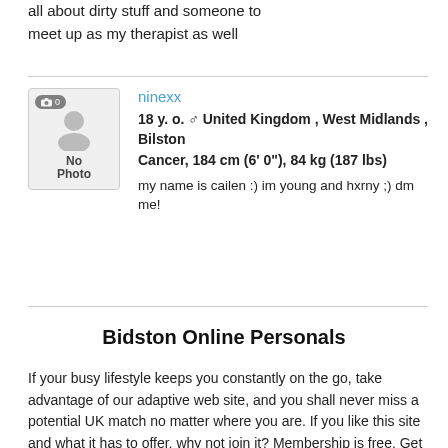all about dirty stuff and someone to meet up as my therapist as well
ninexx
18 y. o. ♂ United Kingdom , West Midlands , Bilston
Cancer, 184 cm (6' 0"), 84 kg (187 lbs)
my name is cailen :) im young and hxrny ;) dm me!
Bidston Online Personals
If your busy lifestyle keeps you constantly on the go, take advantage of our adaptive web site, and you shall never miss a potential UK match no matter where you are. If you like this site and what it has to offer, why not join it? Membership is free. Get instant access to thousands of Bidston local members' profiles as